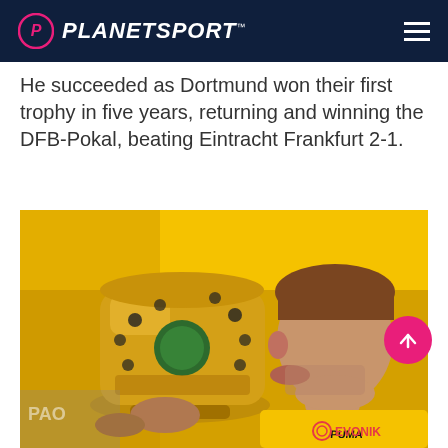PLANETSPORT
He succeeded as Dortmund won their first trophy in five years, returning and winning the DFB-Pokal, beating Eintracht Frankfurt 2-1.
[Figure (photo): A man in a yellow Borussia Dortmund jersey kissing the DFB-Pokal trophy. Puma and Evonik logos visible on the jersey. Yellow background elements.]